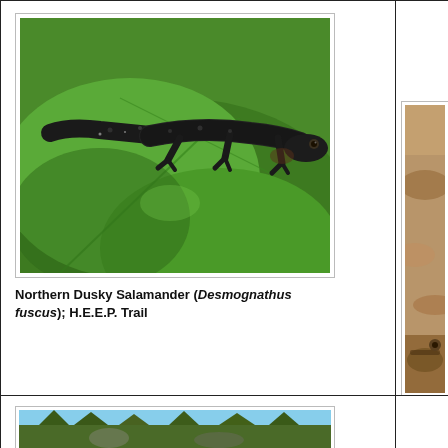[Figure (photo): Photo of a Northern Dusky Salamander (dark/black coloration) resting on a large green leaf, viewed from the side. The salamander has a robust body with visible ribbing along the sides.]
Northern Dusky Salamander (Desmognathus fuscus); H.E.E.P. Trail
[Figure (photo): Partial photo of a Wood Frog camouflaged among brown dried leaves.]
Wood Frog
[Figure (photo): Partial landscape photo showing trees and rocky terrain, partially visible at the bottom of the page.]